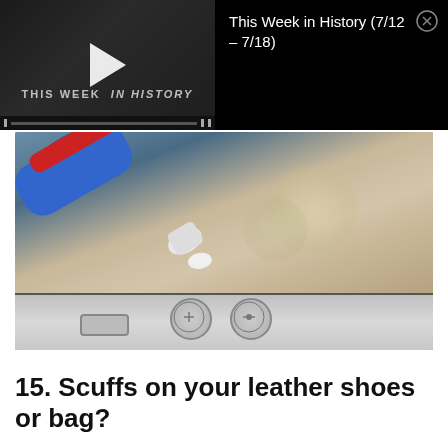[Figure (screenshot): Video player overlay showing 'This Week in History' thumbnail with play button on dark background, with title 'This Week in History (7/12 - 7/18)' and close button]
[Figure (photo): Close-up photo of a toothpaste tube (Crest brand) squeezing toothpaste onto the side of an iPhone, with bokeh blurred background]
15. Scuffs on your leather shoes or bag?